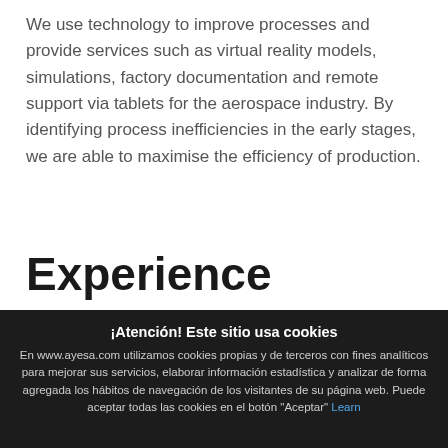We use technology to improve processes and provide services such as virtual reality models, simulations, factory documentation and remote support via tablets for the aerospace industry. By identifying process inefficiencies in the early stages, we are able to maximise the efficiency of production.
Experience
¡Atención! Este sitio usa cookies
En www.ayesa.com utilizamos cookies propias y de terceros con fines analíticos para mejorar sus servicios, elaborar información estadística y analizar de forma agregada los hábitos de navegación de los visitantes de su página web. Puede aceptar todas las cookies en el botón "Aceptar" Learn